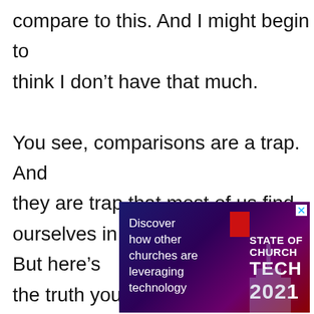compare to this. And I might begin to think I don't have that much.

You see, comparisons are a trap. And they are trap that most of us find ourselves in on a regular basis. But here's the truth you will need to recognize.
[Figure (other): Advertisement banner for 'State of Church Tech 2021' with dark blue/purple gradient background. Left side shows white text 'Discover how other churches are leveraging technology'. Right side shows bold white text 'STATE OF CHURCH TECH 2021' with a red block and cross/church silhouette.]